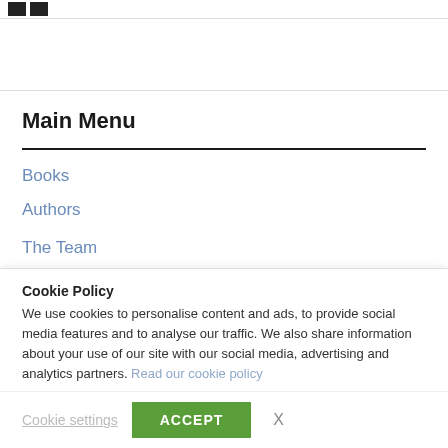[Figure (logo): Two black squares side by side forming a logo in the top-left header area]
Main Menu
Books
Authors
The Team
Cookie Policy
We use cookies to personalise content and ads, to provide social media features and to analyse our traffic. We also share information about your use of our site with our social media, advertising and analytics partners. Read our cookie policy
Cookie settings
ACCEPT
X